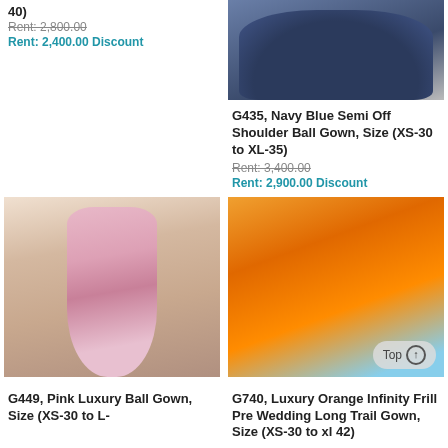40)
Rent: 2,800.00
Rent: 2,400.00 Discount
[Figure (photo): Navy blue semi off shoulder ball gown fabric/top portion shown against light background]
G435, Navy Blue Semi Off Shoulder Ball Gown, Size (XS-30 to XL-35)
Rent: 3,400.00
Rent: 2,900.00 Discount
[Figure (photo): Woman wearing pink luxury ball gown standing indoors]
[Figure (photo): Woman wearing orange luxury infinity frill pre wedding long trail gown outdoors with Top button overlay]
G449, Pink Luxury Ball Gown, Size (XS-30 to L-
G740, Luxury Orange Infinity Frill Pre Wedding Long Trail Gown, Size (XS-30 to xl 42)